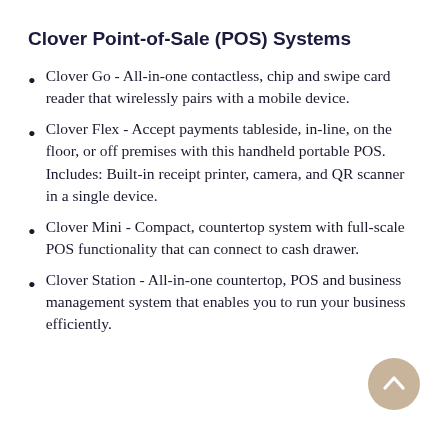Clover Point-of-Sale (POS) Systems
Clover Go - All-in-one contactless, chip and swipe card reader that wirelessly pairs with a mobile device.
Clover Flex - Accept payments tableside, in-line, on the floor, or off premises with this handheld portable POS. Includes: Built-in receipt printer, camera, and QR scanner in a single device.
Clover Mini - Compact, countertop system with full-scale POS functionality that can connect to cash drawer.
Clover Station - All-in-one countertop, POS and business management system that enables you to run your business efficiently.